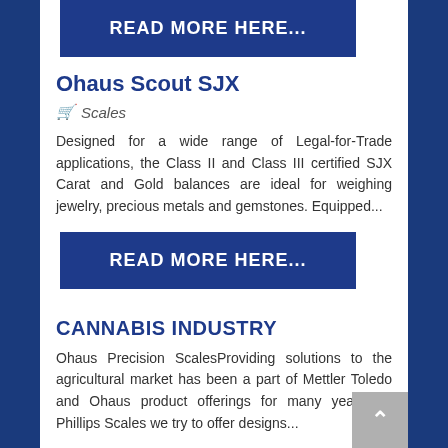READ MORE HERE...
Ohaus Scout SJX
Scales
Designed for a wide range of Legal-for-Trade applications, the Class II and Class III certified SJX Carat and Gold balances are ideal for weighing jewelry, precious metals and gemstones. Equipped...
READ MORE HERE...
CANNABIS INDUSTRY
Ohaus Precision ScalesProviding solutions to the agricultural market has been a part of Mettler Toledo and Ohaus product offerings for many years. At Phillips Scales we try to offer designs...
READ MORE HERE...